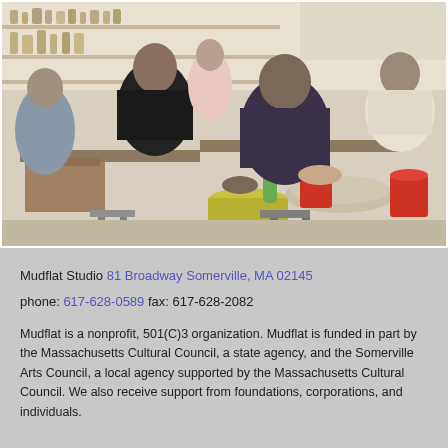[Figure (photo): Photo of a pottery studio with multiple people sitting at pottery wheels and worktables, working with clay. Red buckets, yellow bins, and ceramic supplies visible in background. Indoor studio setting.]
Mudflat Studio 81 Broadway Somerville, MA 02145
phone: 617-628-0589 fax: 617-628-2082
Mudflat is a nonprofit, 501(C)3 organization. Mudflat is funded in part by the Massachusetts Cultural Council, a state agency, and the Somerville Arts Council, a local agency supported by the Massachusetts Cultural Council. We also receive support from foundations, corporations, and individuals.